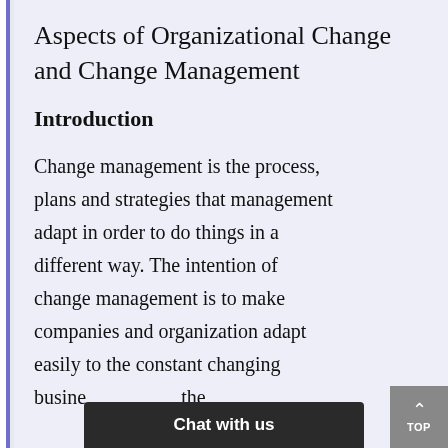Aspects of Organizational Change and Change Management
Introduction
Change management is the process, plans and strategies that management adapt in order to do things in a different way. The intention of change management is to make companies and organization adapt easily to the constant changing busine... the